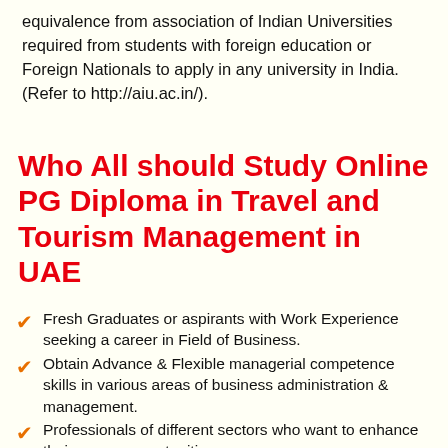equivalence from association of Indian Universities required from students with foreign education or Foreign Nationals to apply in any university in India. (Refer to http://aiu.ac.in/).
Who All should Study Online PG Diploma in Travel and Tourism Management in UAE
Fresh Graduates or aspirants with Work Experience seeking a career in Field of Business.
Obtain Advance & Flexible managerial competence skills in various areas of business administration & management.
Professionals of different sectors who want to enhance their career opportunities.
Working Executives in UAE who want to advance...